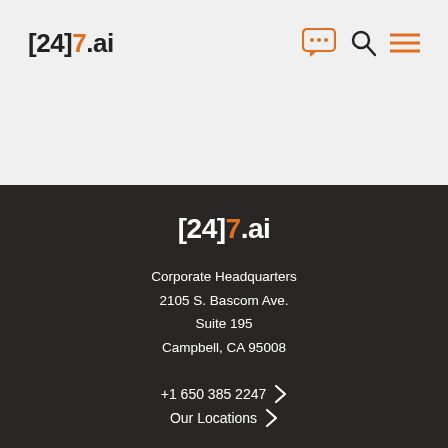[Figure (logo): [24]7.ai logo in header navigation bar with chat icon, search icon, and hamburger menu icon]
[Figure (logo): [24]7.ai logo in dark footer]
Corporate Headquarters
2105 S. Bascom Ave.
Suite 195
Campbell, CA 95008
+1 650 385 2247
Our Locations